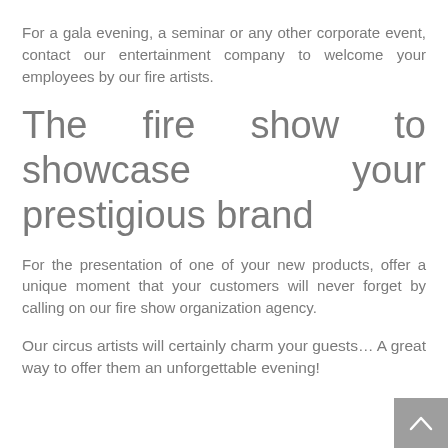For a gala evening, a seminar or any other corporate event, contact our entertainment company to welcome your employees by our fire artists.
The fire show to showcase your prestigious brand
For the presentation of one of your new products, offer a unique moment that your customers will never forget by calling on our fire show organization agency.
Our circus artists will certainly charm your guests… A great way to offer them an unforgettable evening!